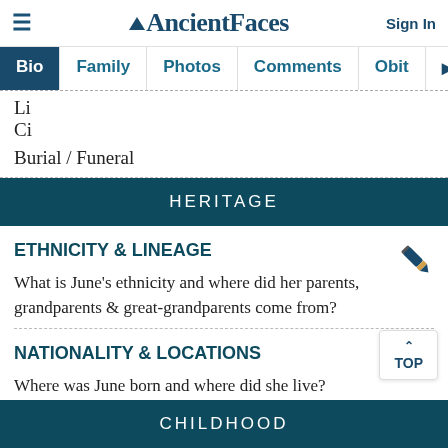AncientFaces — Sign In
Bio | Family | Photos | Comments | Obit
Li
Ci
Burial / Funeral
HERITAGE
ETHNICITY & LINEAGE
What is June's ethnicity and where did her parents, grandparents & great-grandparents come from?
NATIONALITY & LOCATIONS
Where was June born and where did she live?
CHILDHOOD